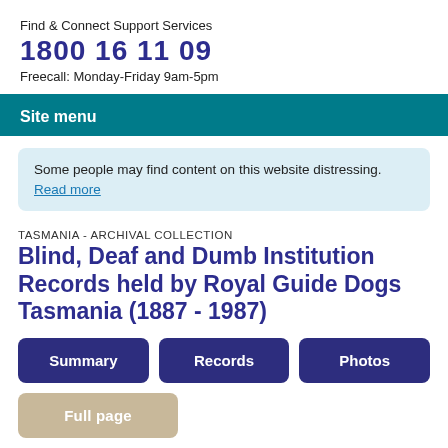Find & Connect Support Services
1800 16 11 09
Freecall: Monday-Friday 9am-5pm
Site menu
Some people may find content on this website distressing. Read more
TASMANIA - ARCHIVAL COLLECTION
Blind, Deaf and Dumb Institution Records held by Royal Guide Dogs Tasmania (1887 - 1987)
Summary
Records
Photos
Full page